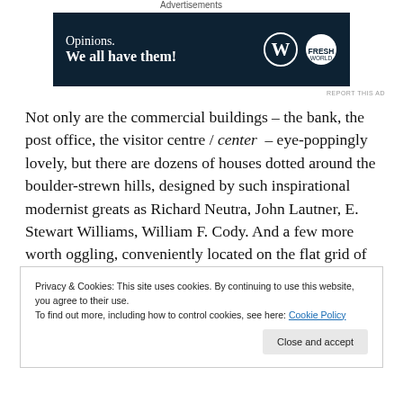Advertisements
[Figure (other): Advertisement banner with dark navy background. Text reads 'Opinions. We all have them!' with WordPress logo and a circular logo on the right.]
REPORT THIS AD
Not only are the commercial buildings – the bank, the post office, the visitor centre / center – eye-poppingly lovely, but there are dozens of houses dotted around the boulder-strewn hills, designed by such inspirational modernist greats as Richard Neutra, John Lautner, E. Stewart Williams, William F. Cody. And a few more worth oggling, conveniently located on the flat grid of central blocks, like the Frank Sinatra Residence
Privacy & Cookies: This site uses cookies. By continuing to use this website, you agree to their use. To find out more, including how to control cookies, see here: Cookie Policy